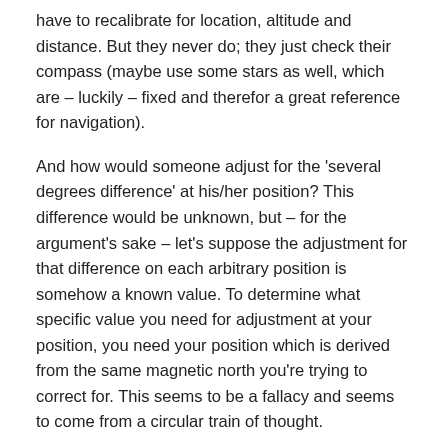have to recalibrate for location, altitude and distance. But they never do; they just check their compass (maybe use some stars as well, which are – luckily – fixed and therefor a great reference for navigation).
And how would someone adjust for the 'several degrees difference' at his/her position? This difference would be unknown, but – for the argument's sake – let's suppose the adjustment for that difference on each arbitrary position is somehow a known value. To determine what specific value you need for adjustment at your position, you need your position which is derived from the same magnetic north you're trying to correct for. This seems to be a fallacy and seems to come from a circular train of thought.
Your second argument just proves some characteristics of a ball/globe; it does not prove earth is one. It seems you're suggesting that such tests have been done, that can be reproduced. If that is the case, please feel free to share the information;